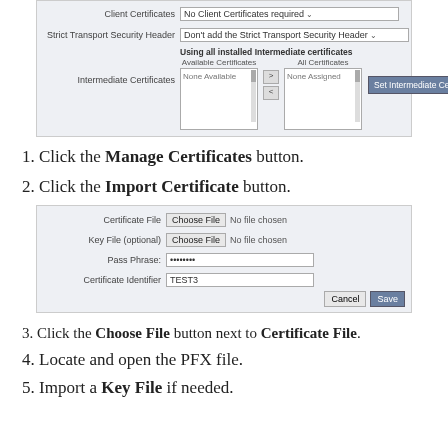[Figure (screenshot): UI panel showing Client Certificates dropdown set to 'No Client Certificates required', Strict Transport Security Header set to 'Don't add the Strict Transport Security Header', and Intermediate Certificates section with Available Certificates and All Certificates listboxes, plus Set Intermediate Certificates button.]
1. Click the Manage Certificates button.
2. Click the Import Certificate button.
[Figure (screenshot): Import form UI with Certificate File (Choose File, No file chosen), Key File optional (Choose File, No file chosen), Pass Phrase (password dots), Certificate Identifier (TEST3), and Cancel/Save buttons.]
3. Click the Choose File button next to Certificate File.
4. Locate and open the PFX file.
5. Import a Key File if needed.